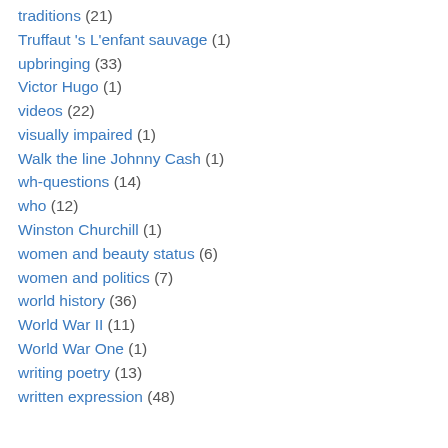traditions (21)
Truffaut 's L'enfant sauvage (1)
upbringing (33)
Victor Hugo (1)
videos (22)
visually impaired (1)
Walk the line Johnny Cash (1)
wh-questions (14)
who (12)
Winston Churchill (1)
women and beauty status (6)
women and politics (7)
world history (36)
World War II (11)
World War One (1)
writing poetry (13)
written expression (48)